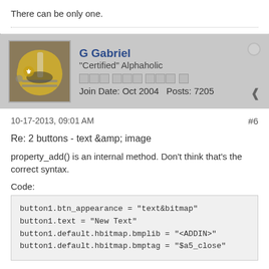There can be only one.
G Gabriel
"Certified" Alphaholic
Join Date: Oct 2004    Posts: 7205
10-17-2013, 09:01 AM
#6
Re: 2 buttons - text &amp; image
property_add() is an internal method. Don't think that's the correct syntax.
Code:
button1.btn_appearance = "text&bitmap"
button1.text = "New Text"
button1.default.hbitmap.bmplib = "<ADDIN>"
button1.default.hbitmap.bmptag = "$a5_close"
Works just fine for me:
chqBttn.zip